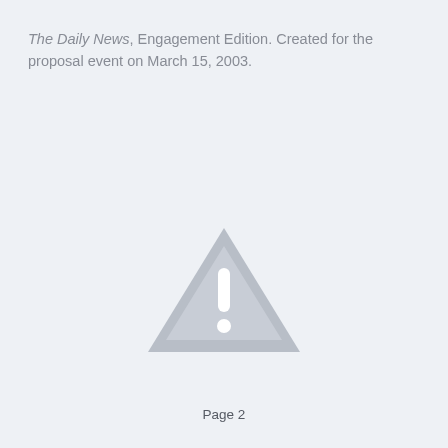The Daily News, Engagement Edition. Created for the proposal event on March 15, 2003.
[Figure (illustration): Gray warning/caution triangle icon with an exclamation mark inside, centered on the page.]
Page 2